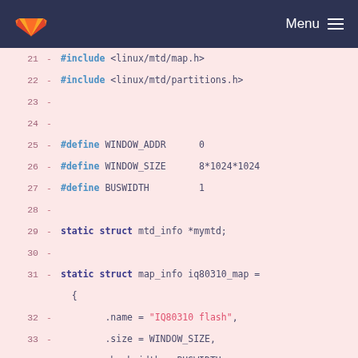[Figure (screenshot): GitLab navigation header with orange fox logo and Menu hamburger button on dark navy background]
21  - #include <linux/mtd/map.h>
22  - #include <linux/mtd/partitions.h>
23  -
24  -
25  - #define WINDOW_ADDR      0
26  - #define WINDOW_SIZE      8*1024*1024
27  - #define BUSWIDTH         1
28  -
29  - static struct mtd_info *mymtd;
30  -
31  - static struct map_info iq80310_map =
    {  
32  - .name = "IQ80310 flash",
33  - .size = WINDOW_SIZE,
34  - .bankwidth = BUSWIDTH,
35  - .phys = WINDOW_ADDR
36  - };
37  -
38  - static struct mtd_partition iq80310_partitions[4] = {